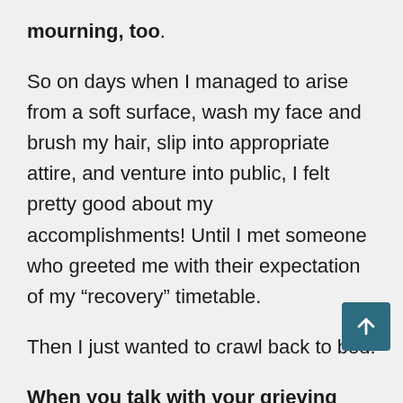mourning, too.
So on days when I managed to arise from a soft surface, wash my face and brush my hair, slip into appropriate attire, and venture into public, I felt pretty good about my accomplishments! Until I met someone who greeted me with their expectation of my “recovery” timetable.
Then I just wanted to crawl back to bed.
When you talk with your grieving friends, tell them you’re proud of them for whatever they have achieved — no matter how small it may seem to you. Let them know it’s okay they’re feeling whatever emotions are roiling at the moment. Reassure them